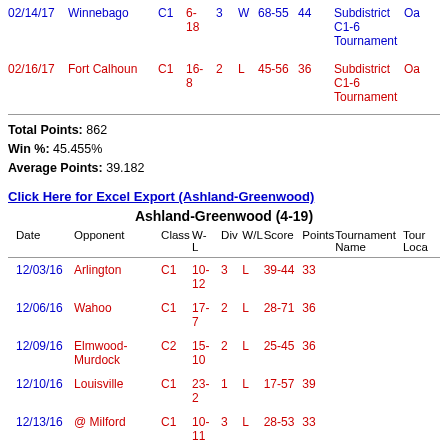| Date | Opponent | Class | W-L | Div | W/L | Score | Points | Tournament Name | Tour Loca |
| --- | --- | --- | --- | --- | --- | --- | --- | --- | --- |
| 02/14/17 | Winnebago | C1 | 6-18 | 3 | W | 68-55 | 44 | Subdistrict C1-6 Tournament | Oa |
| 02/16/17 | Fort Calhoun | C1 | 16-8 | 2 | L | 45-56 | 36 | Subdistrict C1-6 Tournament | Oa |
Total Points: 862
Win %: 45.455%
Average Points: 39.182
Click Here for Excel Export (Ashland-Greenwood)
Ashland-Greenwood (4-19)
| Date | Opponent | Class | W-L | Div | W/L | Score | Points | Tournament Name | Tour Loca |
| --- | --- | --- | --- | --- | --- | --- | --- | --- | --- |
| 12/03/16 | Arlington | C1 | 10-12 | 3 | L | 39-44 | 33 |  |  |
| 12/06/16 | Wahoo | C1 | 17-7 | 2 | L | 28-71 | 36 |  |  |
| 12/09/16 | Elmwood-Murdock | C2 | 15-10 | 2 | L | 25-45 | 36 |  |  |
| 12/10/16 | Louisville | C1 | 23-2 | 1 | L | 17-57 | 39 |  |  |
| 12/13/16 | @ Milford | C1 | 10-11 | 3 | L | 28-53 | 33 |  |  |
| 12/29-12/30 | Opponents: | - | - | - | - | Ashland-Greenwood Holiday | Ash |